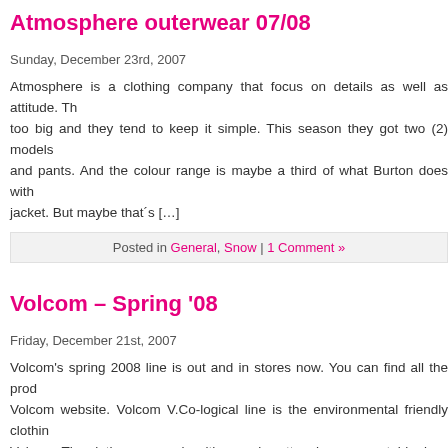Atmosphere outerwear 07/08
Sunday, December 23rd, 2007
Atmosphere is a clothing company that focus on details as well as attitude. They are not too big and they tend to keep it simple. This season they got two (2) models of jacket and pants. And the colour range is maybe a third of what Burton does with one jacket. But maybe that´s […]
Posted in General, Snow | 1 Comment »
Volcom – Spring '08
Friday, December 21st, 2007
Volcom's spring 2008 line is out and in stores now. You can find all the products at the Volcom website. Volcom V.Co-logical line is the environmental friendly clothing line from Volcom. The clothes are made with organic cotton, hemp, vegetable dyes and other eco friendly alternatives. The spring '08 series is their biggest line yet. Another […]
Posted in Gear & Gadgets | No Comments »
Pick of the day: Burton ak Guide Glove
Tuesday, December 18th, 2007
We got these gloves some month ago. They look really good. With gore